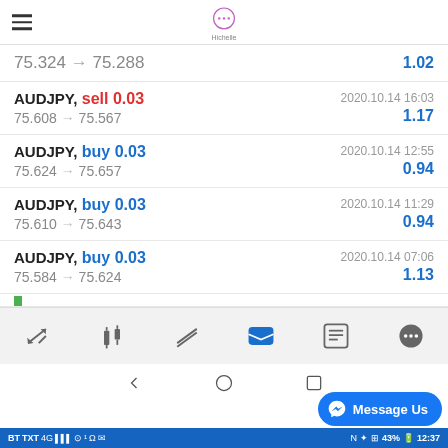Hichelle trading app header
75.324 → 75.288   1.02
AUDJPY, sell 0.03 | 2020.10.14 16:03 | 75.608 → 75.567 | 1.17
AUDJPY, buy 0.03 | 2020.10.14 12:55 | 75.624 → 75.657 | 0.94
AUDJPY, buy 0.03 | 2020.10.14 11:29 | 75.610 → 75.643 | 0.94
AUDJPY, buy 0.03 | 2020.10.14 07:06 | 75.584 → 75.624 | 1.13
BT 4G 43% 12:37